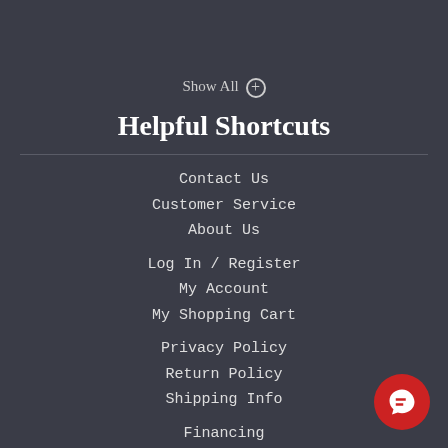Show All ⊕
Helpful Shortcuts
Contact Us
Customer Service
About Us
Log In / Register
My Account
My Shopping Cart
Privacy Policy
Return Policy
Shipping Info
Financing
Visit our Blog
Watch our Videos
[Figure (illustration): Red circular chat button with speech bubble icon in bottom right corner]